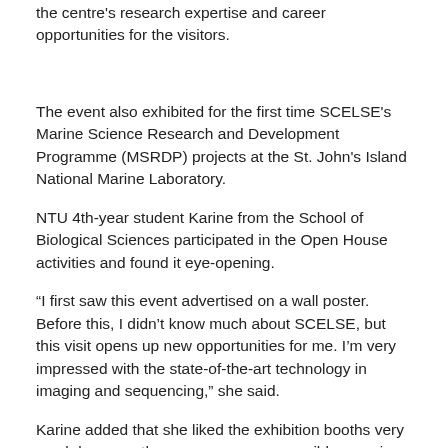the centre's research expertise and career opportunities for the visitors.
The event also exhibited for the first time SCELSE's Marine Science Research and Development Programme (MSRDP) projects at the St. John's Island National Marine Laboratory.
NTU 4th-year student Karine from the School of Biological Sciences participated in the Open House activities and found it eye-opening.
“I first saw this event advertised on a wall poster. Before this, I didn’t know much about SCELSE, but this visit opens up new opportunities for me. I’m very impressed with the state-of-the-art technology in imaging and sequencing,” she said.
Karine added that she liked the exhibition booths very much because they gave a more accessible overview of SCELSE’s research than simple poster displays, especially for people who are not familiar with the topics.